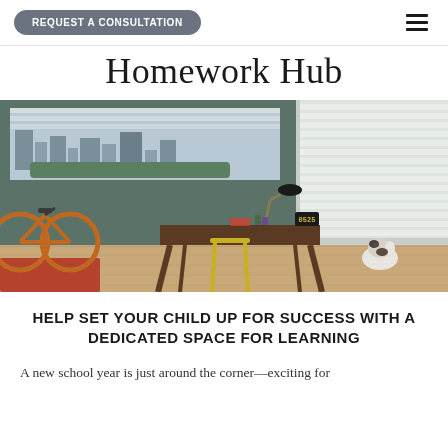REQUEST A CONSULTATION
Homework Hub
[Figure (photo): A home office/study room with a wooden desk, yellow chair, orange bicycle, white pleated window shades, large windows with a city view, and a dog sitting by the window. A desk lamp, books, and clock (0525) are on the desk. Hardwood floors and a red rug.]
HELP SET YOUR CHILD UP FOR SUCCESS WITH A DEDICATED SPACE FOR LEARNING
A new school year is just around the corner—exciting for